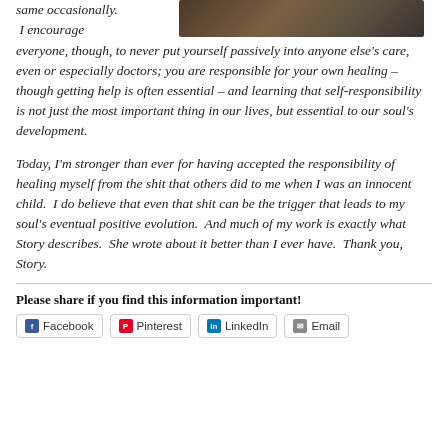same occasionally.  I encourage everyone, though, to never put yourself passively into anyone else's care, even or especially doctors; you are responsible for your own healing – though getting help is often essential – and learning that self-responsibility is not just the most important thing in our lives, but essential to our soul's development.
[Figure (photo): A dark-toned photograph of people, partially visible at the top right of the page.]
Today, I'm stronger than ever for having accepted the responsibility of healing myself from the shit that others did to me when I was an innocent child.  I do believe that even that shit can be the trigger that leads to my soul's eventual positive evolution.  And much of my work is exactly what Story describes.  She wrote about it better than I ever have.  Thank you, Story.
Please share if you find this information important!
Facebook  Pinterest  LinkedIn  Email